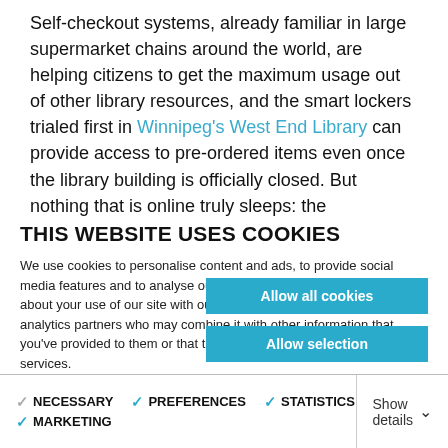Self-checkout systems, already familiar in large supermarket chains around the world, are helping citizens to get the maximum usage out of other library resources, and the smart lockers trialed first in Winnipeg's West End Library can provide access to pre-ordered items even once the library building is officially closed. But nothing that is online truly sleeps: the
THIS WEBSITE USES COOKIES
We use cookies to personalise content and ads, to provide social media features and to analyse our traffic. We also share information about your use of our site with our social media, advertising and analytics partners who may combine it with other information that you've provided to them or that they've collected from your use of their services.
Allow all cookies
Allow selection
Use necessary cookies only
NECESSARY  PREFERENCES  STATISTICS  MARKETING  Show details